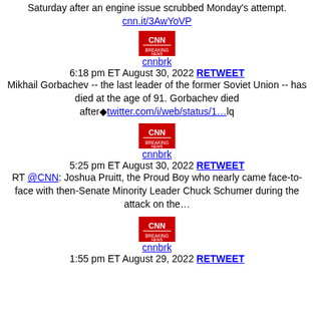Saturday after an engine issue scrubbed Monday's attempt.
cnn.it/3AwYoVP
[Figure (logo): CNN Breaking News logo]
cnnbrk
6:18 pm ET August 30, 2022 RETWEET
Mikhail Gorbachev -- the last leader of the former Soviet Union -- has died at the age of 91. Gorbachev died after■ twitter.com/i/web/status/1…lq
[Figure (logo): CNN Breaking News logo]
cnnbrk
5:25 pm ET August 30, 2022 RETWEET
RT @CNN: Joshua Pruitt, the Proud Boy who nearly came face-to-face with then-Senate Minority Leader Chuck Schumer during the attack on the…
[Figure (logo): CNN Breaking News logo]
cnnbrk
1:55 pm ET August 29, 2022 RETWEET